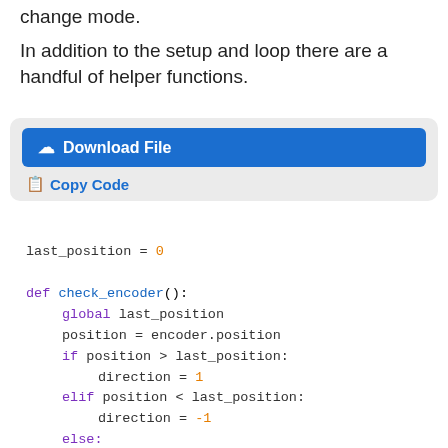change mode.
In addition to the setup and loop there are a handful of helper functions.
[Figure (screenshot): Download File button (blue) and Copy Code link in a light gray toolbar]
last_position = 0

def check_encoder():
    global last_position
    position = encoder.position
    if position > last_position:
        direction = 1
    elif position < last_position:
        direction = -1
    else:
        direction = 0
    last_position = position